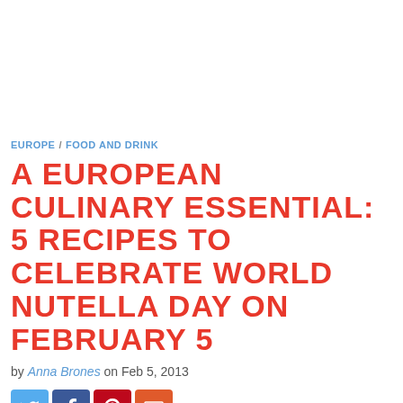EUROPE / FOOD AND DRINK
A EUROPEAN CULINARY ESSENTIAL: 5 RECIPES TO CELEBRATE WORLD NUTELLA DAY ON FEBRUARY 5
by Anna Brones on Feb 5, 2013
[Figure (other): Social sharing buttons: Twitter, Facebook, Pinterest, Email]
There was a time when Nutella was merely a memory of